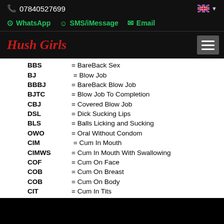📞 07840527699
WhatsApp  SMS/iMessage  Email
Hush Girls
| Abbr | Definition |
| --- | --- |
| BBS | = BareBack Sex |
| BJ | = Blow Job |
| BBBJ | = BareBack Blow Job |
| BJTC | = Blow Job To Completion |
| CBJ | = Covered Blow Job |
| DSL | = Dick Sucking Lips |
| BLS | = Balls Licking and Sucking |
| OWO | = Oral Without Condom |
| CIM | = Cum In Mouth |
| CIMWS | = Cum In Mouth With Swallowing |
| COF | = Cum On Face |
| COB | = Cum On Breast |
| COB | = Cum On Body |
| CIT | = Cum In Tits |